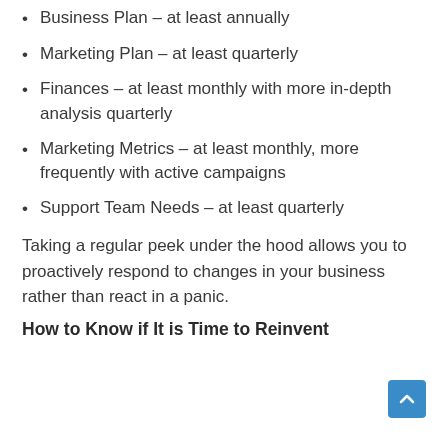Business Plan – at least annually
Marketing Plan – at least quarterly
Finances – at least monthly with more in-depth analysis quarterly
Marketing Metrics – at least monthly, more frequently with active campaigns
Support Team Needs – at least quarterly
Taking a regular peek under the hood allows you to proactively respond to changes in your business rather than react in a panic.
How to Know if It is Time to Reinvent